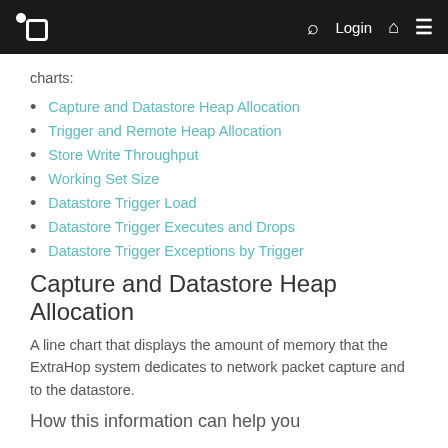Navigation bar with logo, search, Login, home, and menu icons
charts:
Capture and Datastore Heap Allocation
Trigger and Remote Heap Allocation
Store Write Throughput
Working Set Size
Datastore Trigger Load
Datastore Trigger Executes and Drops
Datastore Trigger Exceptions by Trigger
Capture and Datastore Heap Allocation
A line chart that displays the amount of memory that the ExtraHop system dedicates to network packet capture and to the datastore.
How this information can help you